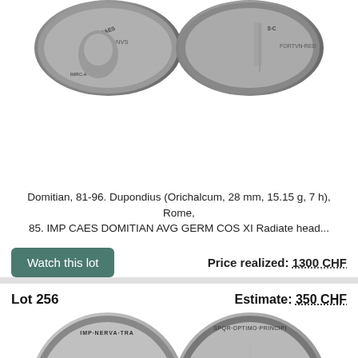[Figure (photo): Two ancient Roman coins (Domitian Dupondius) shown side by side - obverse and reverse]
Domitian, 81-96. Dupondius (Orichalcum, 28 mm, 15.15 g, 7 h), Rome, 85. IMP CAES DOMITIAN AVG GERM COS XI Radiate head...
Watch this lot
Price realized: 1300 CHF
Lot 256
Estimate: 350 CHF
[Figure (photo): Two ancient Roman coins (Trajan Denarius) shown side by side - obverse and reverse]
Traian, 98-117. Denarius (Silver, 19 mm, 3.24 g, 7 h), Rome, circa